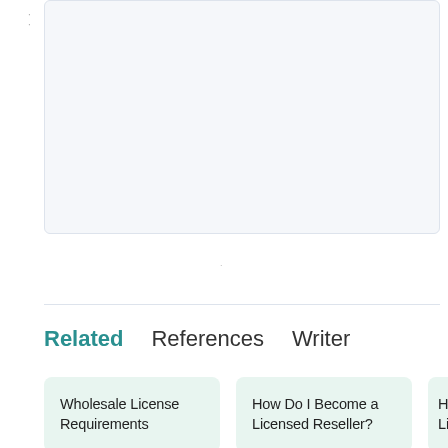[Figure (other): Large light gray rounded rectangle box, mostly empty, representing an image or content placeholder area.]
Related   References   Writer
Wholesale License Requirements
How Do I Become a Licensed Reseller?
Ho... Li...